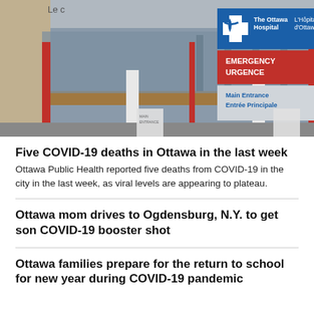[Figure (photo): Exterior photo of The Ottawa Hospital / L'Hôpital d'Ottawa showing directional signage with Emergency/Urgence in red, Main Entrance/Entrée Principale in blue, and a blue hospital logo sign.]
Five COVID-19 deaths in Ottawa in the last week
Ottawa Public Health reported five deaths from COVID-19 in the city in the last week, as viral levels are appearing to plateau.
Ottawa mom drives to Ogdensburg, N.Y. to get son COVID-19 booster shot
Ottawa families prepare for the return to school for new year during COVID-19 pandemic